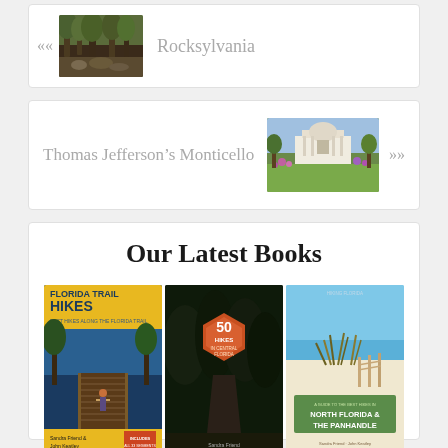[Figure (other): Navigation card with left arrow, forest/rocky path thumbnail image, and text 'Rocksylvania']
[Figure (other): Navigation card with text 'Thomas Jefferson's Monticello', thumbnail of Monticello grounds with flowers, and right arrow]
Our Latest Books
[Figure (other): Three book covers displayed: 'Florida Trail Hikes', '50 Hikes in Central Florida', and a North Florida & The Panhandle hiking guide]